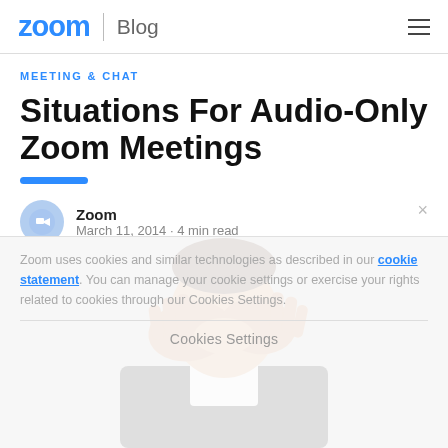zoom | Blog
MEETING & CHAT
Situations For Audio-Only Zoom Meetings
Zoom
March 11, 2014 · 4 min read
[Figure (photo): Man covering his face with both hands, wearing a dark suit jacket]
Zoom uses cookies and similar technologies as described in our cookie statement. You can manage your cookie settings or exercise your rights related to cookies through our Cookies Settings.
Cookies Settings